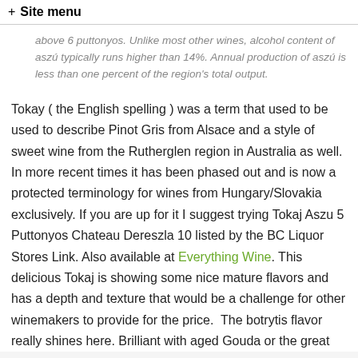+ Site menu
above 6 puttonyos. Unlike most other wines, alcohol content of aszú typically runs higher than 14%. Annual production of aszú is less than one percent of the region's total output.
Tokay ( the English spelling ) was a term that used to be used to describe Pinot Gris from Alsace and a style of sweet wine from the Rutherglen region in Australia as well. In more recent times it has been phased out and is now a protected terminology for wines from Hungary/Slovakia exclusively. If you are up for it I suggest trying Tokaj Aszu 5 Puttonyos Chateau Dereszla 10 listed by the BC Liquor Stores Link. Also available at Everything Wine. This delicious Tokaj is showing some nice mature flavors and has a depth and texture that would be a challenge for other winemakers to provide for the price. The botrytis flavor really shines here. Brilliant with aged Gouda or the great